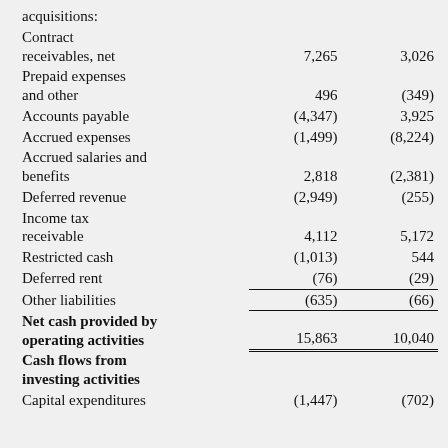|  | Col1 | Col2 |
| --- | --- | --- |
| acquisitions: |  |  |
| Contract receivables, net | 7,265 | 3,026 |
| Prepaid expenses and other | 496 | (349) |
| Accounts payable | (4,347) | 3,925 |
| Accrued expenses | (1,499) | (8,224) |
| Accrued salaries and benefits | 2,818 | (2,381) |
| Deferred revenue | (2,949) | (255) |
| Income tax receivable | 4,112 | 5,172 |
| Restricted cash | (1,013) | 544 |
| Deferred rent | (76) | (29) |
| Other liabilities | (635) | (66) |
| Net cash provided by operating activities | 15,863 | 10,040 |
| Cash flows from investing activities |  |  |
| Capital expenditures | (1,447) | (702) |